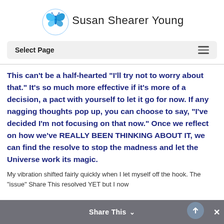[Figure (logo): Susan Shearer Young website logo with blue butterfly and site name text]
Select Page
This can't be a half-hearted "I'll try not to worry about that." It's so much more effective if it's more of a decision, a pact with yourself to let it go for now. If any nagging thoughts pop up, you can choose to say, "I've decided I'm not focusing on that now." Once we reflect on how we've REALLY BEEN THINKING ABOUT IT, we can find the resolve to stop the madness and let the Universe work its magic.
My vibration shifted fairly quickly when I let myself off the hook. The "issue" Share This resolved YET but I now